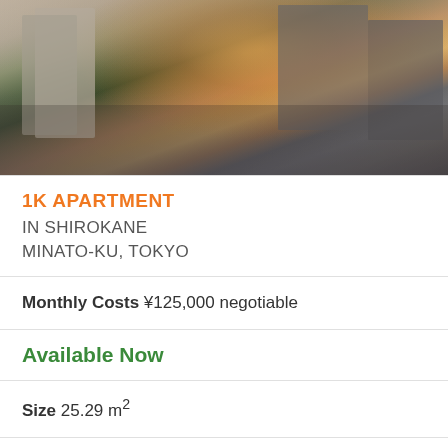[Figure (photo): Street-level photo of urban Tokyo buildings at dusk/sunset, showing apartment buildings, green foliage, and city skyline with orange-pink sky]
1K APARTMENT IN SHIROKANE MINATO-KU, TOKYO
Monthly Costs ¥125,000 negotiable
Available Now
Size 25.29 m²
Deposit ¥119,000
Key Money ¥119,000
Floor 4 / 5F